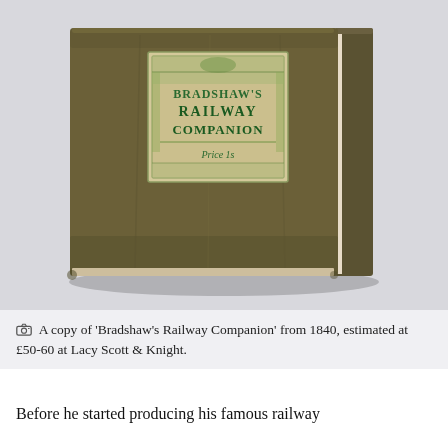[Figure (photo): A photograph of an old hardback book titled 'Bradshaw's Railway Companion', with a worn olive-green cloth cover. The book has a decorative label on the front showing the title in green lettering with ornate border design and 'Price 1s' at the bottom. The book is shown at a slight angle on a white/grey surface, showing its thick spine with cream-coloured pages visible.]
A copy of 'Bradshaw's Railway Companion' from 1840, estimated at £50-60 at Lacy Scott & Knight.
Before he started producing his famous railway